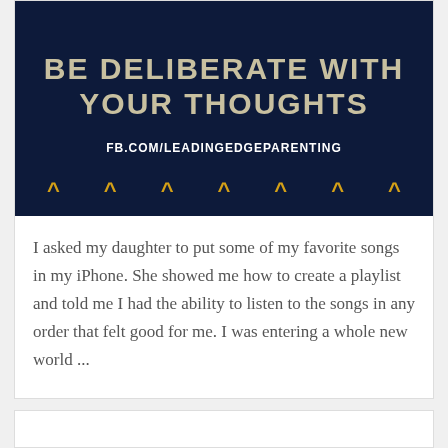[Figure (illustration): Dark navy blue banner image with text 'BE DELIBERATE WITH YOUR THOUGHTS' in gold/beige large bold uppercase letters, below that 'FB.COM/LEADINGEDGEPARENTING' in white bold text, and a row of gold chevron/caret symbols at the bottom.]
I asked my daughter to put some of my favorite songs in my iPhone. She showed me how to create a playlist and told me I had the ability to listen to the songs in any order that felt good for me. I was entering a whole new world ...